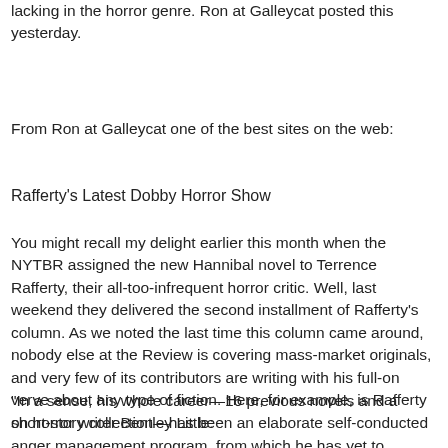lacking in the horror genre. Ron at Galleycat posted this yesterday.
From Ron at Galleycat one of the best sites on the web:
Rafferty's Latest Dobby Horror Show
You might recall my delight earlier this month when the NYTBR assigned the new Hannibal novel to Terrence Rafferty, their all-too-infrequent horror critic. Well, last weekend they delivered the second installment of Rafferty's column. As we noted the last time this column came around, nobody else at the Review is covering mass-market originals, and very few of its contributors are writing with his full-on verve about any type of fiction. Here, for example, is Rafferty on horror writer Bentley Little:
"In a sense, his whole career—16 previous novels and a short-story collection—has been an elaborate self-conducted anger management program, from which he has yet to